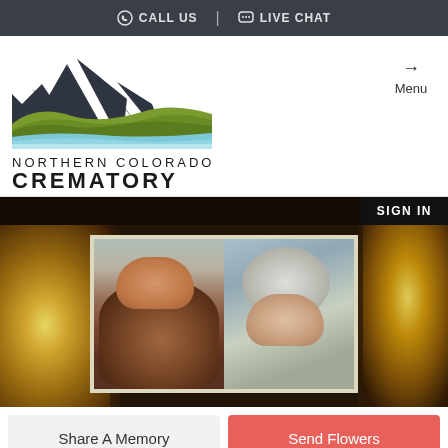CALL US | LIVE CHAT
[Figure (logo): Northern Colorado Crematory logo with mountain and landscape graphic]
Menu
[Figure (photo): Sign In button overlay on memorial photo banner with two portrait photos and blurred candle background]
Share A Memory
Send Flowers